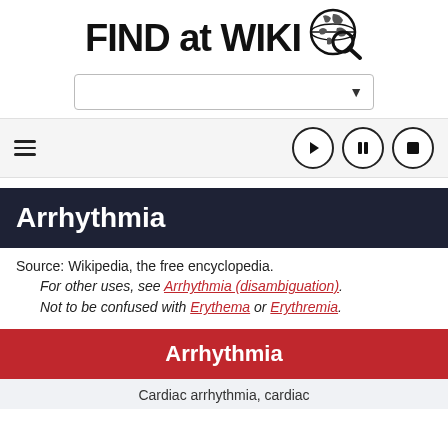[Figure (logo): FIND at WIKI logo with globe and magnifier icon]
[Figure (screenshot): Search bar with dropdown arrow]
[Figure (screenshot): Navigation bar with hamburger menu and media control buttons (play, pause, stop)]
Arrhythmia
Source: Wikipedia, the free encyclopedia.
For other uses, see Arrhythmia (disambiguation).
Not to be confused with Erythema or Erythremia.
Arrhythmia
Cardiac arrhythmia, cardiac